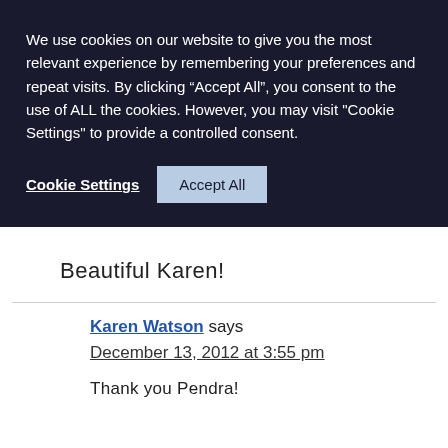We use cookies on our website to give you the most relevant experience by remembering your preferences and repeat visits. By clicking “Accept All”, you consent to the use of ALL the cookies. However, you may visit "Cookie Settings" to provide a controlled consent.
Cookie Settings  Accept All
Beautiful Karen!
Karen Watson says
December 13, 2012 at 3:55 pm
Thank you Pendra!